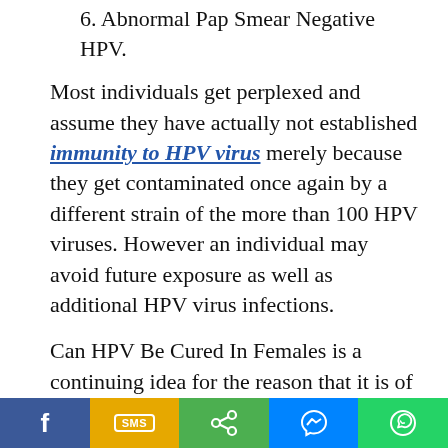6. Abnormal Pap Smear Negative HPV.
Most individuals get perplexed and assume they have actually not established immunity to HPV virus merely because they get contaminated once again by a different strain of the more than 100 HPV viruses. However an individual may avoid future exposure as well as additional HPV virus infections.
Can HPV Be Cured In Females is a continuing idea for the reason that it is of interest when contemplating Can HPV Be